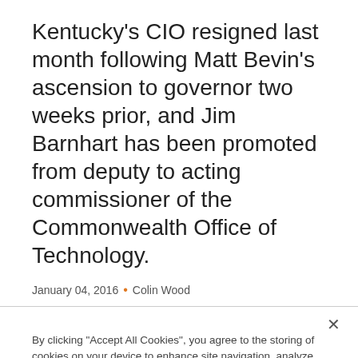Kentucky's CIO resigned last month following Matt Bevin's ascension to governor two weeks prior, and Jim Barnhart has been promoted from deputy to acting commissioner of the Commonwealth Office of Technology.
January 04, 2016 • Colin Wood
By clicking "Accept All Cookies", you agree to the storing of cookies on your device to enhance site navigation, analyze site usage, and assist in our marketing efforts.
Accept All Cookies
Reject All
Cookies Settings